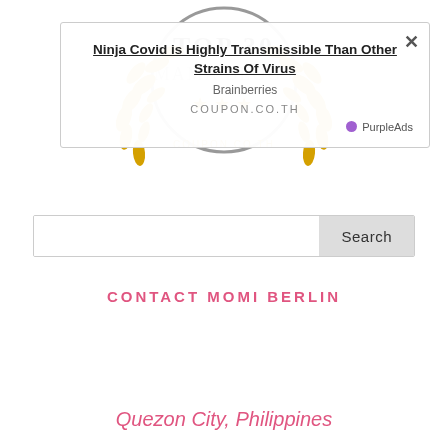[Figure (illustration): Top 30 Mama Blogs badge with golden laurel wreath, gray circle, gold stars, and text COUPON.CO.TH at bottom]
[Figure (screenshot): Ad overlay popup with title 'Ninja Covid is Highly Transmissible Than Other Strains Of Virus', source 'Brainberries', brand 'COUPON.CO.TH', close X button, PurpleAds label with purple dot]
Search
CONTACT MOMI BERLIN
Quezon City, Philippines